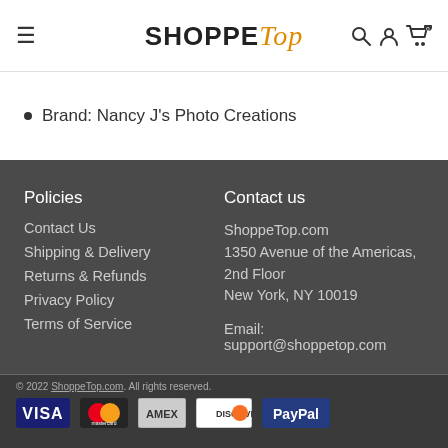SHOPPE Top
Brand: Nancy J's Photo Creations
Policies
Contact Us
Shipping & Delivery
Returns & Refunds
Privacy Policy
Terms of Service
Contact us
ShoppeTop.com
1350 Avenue of the Americas, 2nd Floor
New York, NY 10019

Email: support@shoppetop.com
© 2022 ShoppeTop.com. All rights reserved.